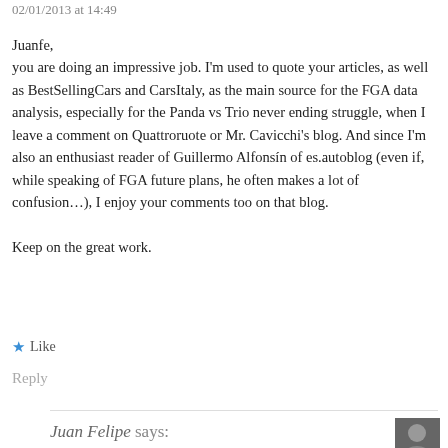02/01/2013 at 14:49
Juanfe,
you are doing an impressive job. I'm used to quote your articles, as well as BestSellingCars and CarsItaly, as the main source for the FGA data analysis, especially for the Panda vs Trio never ending struggle, when I leave a comment on Quattroruote or Mr. Cavicchi's blog. And since I'm also an enthusiast reader of Guillermo Alfonsín of es.autoblog (even if, while speaking of FGA future plans, he often makes a lot of confusion…), I enjoy your comments too on that blog.

Keep on the great work.
★ Like
Reply
Juan Felipe says: